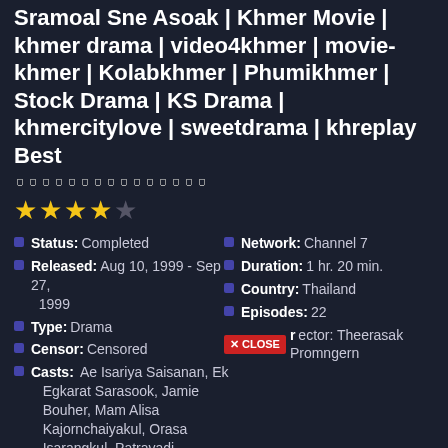Sramoal Sne Asoak | Khmer Movie | khmer drama | video4khmer | movie-khmer | Kolabkhmer | Phumikhmer | Stock Drama | KS Drama | khmercitylove | sweetdrama | khreplay Best
០០០០០០០០០០០០០០០
★★★★☆ (4 out of 5 stars)
Status: Completed
Network: Channel 7
Released: Aug 10, 1999 - Sep 27, 1999
Duration: 1 hr. 20 min.
Type: Drama
Country: Thailand
Censor: Censored
Episodes: 22
Director: Theerasak Promngern
Casts: Ae Isariya Saisanan, Ek Egkarat Sarasook, Jamie Bouher, Mam Alisa Kajornchaiyakul, Orasa Isarangkul, Patravadi Mejudhon
Drama | Historical | Romance
Sramoal Sne Asoak | Khmer Movie | khmer